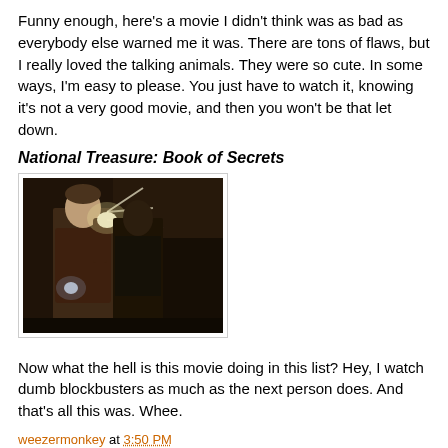Funny enough, here's a movie I didn't think was as bad as everybody else warned me it was. There are tons of flaws, but I really loved the talking animals. They were so cute. In some ways, I'm easy to please. You just have to watch it, knowing it's not a very good movie, and then you won't be that let down.
National Treasure: Book of Secrets
[Figure (photo): Dark scene from National Treasure: Book of Secrets showing Nicolas Cage holding a light source in a cave-like setting with another person behind him]
Now what the hell is this movie doing in this list? Hey, I watch dumb blockbusters as much as the next person does. And that's all this was. Whee.
weezermonkey at 3:50 PM